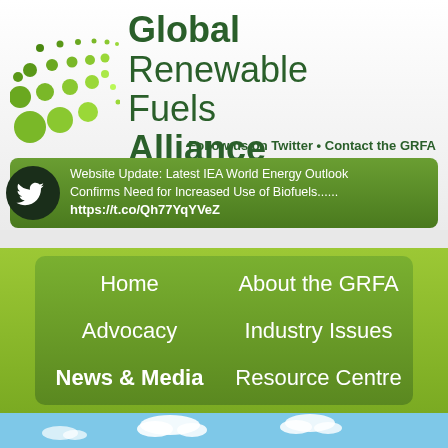Global Renewable Fuels Alliance
Follow us on Twitter • Contact the GRFA
Website Update: Latest IEA World Energy Outlook Confirms Need for Increased Use of Biofuels...... https://t.co/Qh77YqYVeZ
Home
About the GRFA
Advocacy
Industry Issues
News & Media
Resource Centre
[Figure (photo): Blue sky with white clouds]